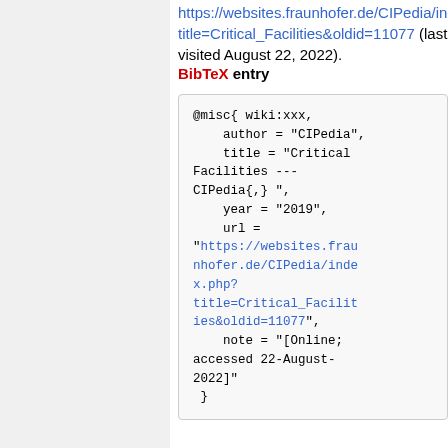https://websites.fraunhofer.de/CIPedia/index.php?title=Critical_Facilities&oldid=11077 (last visited August 22, 2022).
BibTeX entry
@misc{ wiki:xxx,
    author = "CIPedia",
    title = "Critical Facilities --- CIPedia{,} ",
    year = "2019",
    url = "https://websites.fraunhofer.de/CIPedia/index.php?title=Critical_Facilities&oldid=11077",
    note = "[Online; accessed 22-August-2022]"
 }